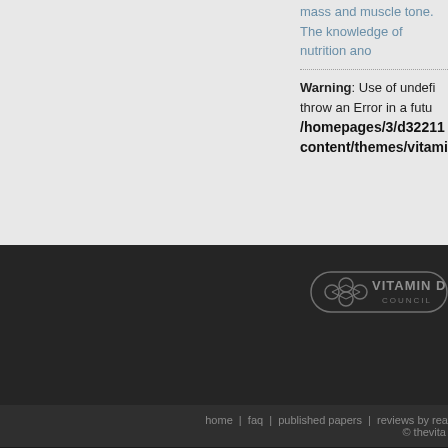mass and muscle tone. The knowledge of nutrition and
Warning: Use of undefined... throw an Error in a future... /homepages/3/d322114... content/themes/vitami...
[Figure (logo): Vitamin D Council logo with hexagonal molecule icon and text 'VITAMIN D COUNCIL']
home  |  faq  |  published papers  |  reviews by read... © thevita...